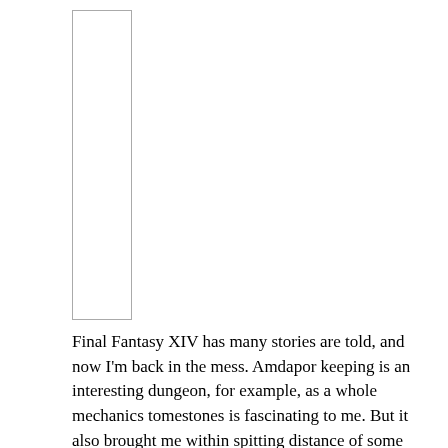[Figure (other): A tall narrow vertical rectangle outline, likely a placeholder for an image or illustration.]
Final Fantasy XIV has many stories are told, and now I'm back in the mess. Amdapor keeping is an interesting dungeon, for example, as a whole mechanics tomestones is fascinating to me. But it also brought me within spitting distance of some people describe the game, the real drawback is that there is no way to really make money in the endgame. Install your repair bills, you do not get any further money to you, thus opening a leak, never really closed.
Honestly, I think this is interesting, because I did more money, because restart than when I first